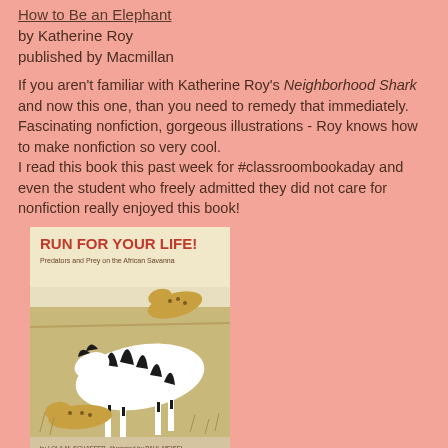How to Be an Elephant
by Katherine Roy
published by Macmillan
If you aren't familiar with Katherine Roy's Neighborhood Shark and now this one, than you need to remedy that immediately.  Fascinating nonfiction, gorgeous illustrations - Roy knows how to make nonfiction so very cool.
I read this book this past week for #classroombookaday and even the student who freely admitted they did not care for nonfiction really enjoyed this book!
[Figure (photo): Book cover of 'Run For Your Life! Predators and Prey on the African Savanna' showing a zebra running from cheetahs on the savanna]
Run For Your Life!
written by Lola M. Schaefer